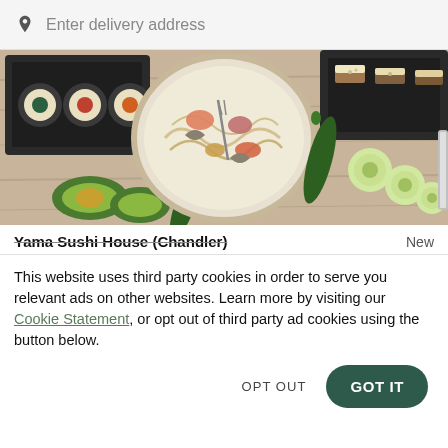Enter delivery address
[Figure (photo): Overhead shot of a sushi/Asian restaurant food spread on a wooden table: a white bowl of noodles with seafood and vegetables in center, sushi rolls on dark trays to the left, sliced cucumber and a jalapeño pepper on the right, avocado halves in the lower left.]
Yama Sushi House (Chandler)	New
This website uses third party cookies in order to serve you relevant ads on other websites. Learn more by visiting our Cookie Statement, or opt out of third party ad cookies using the button below.
OPT OUT
GOT IT